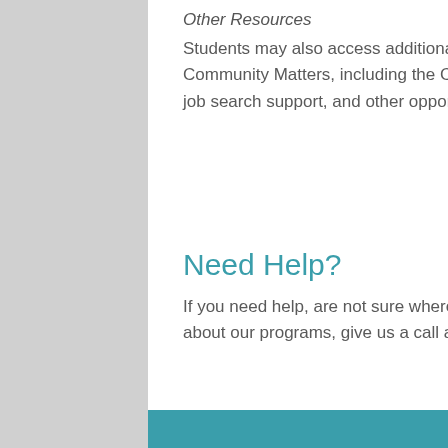Other Resources
Students may also access additional resources available at Community Matters, including the Community Market food pantry, job search support, and other opportunities.
Need Help?
If you need help, are not sure where to start, or want to learn more about our programs, give us a call at (513) 244-2214 extension 203.